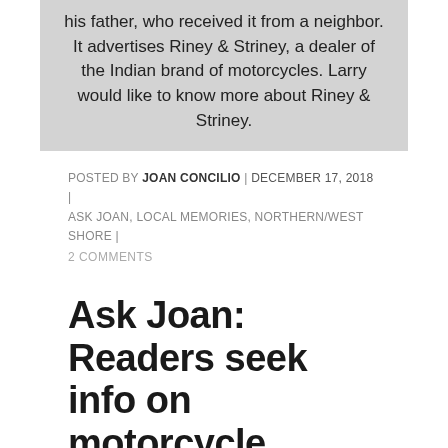his father, who received it from a neighbor. It advertises Riney & Striney, a dealer of the Indian brand of motorcycles. Larry would like to know more about Riney & Striney.
POSTED BY JOAN CONCILIO | DECEMBER 17, 2018 | ASK JOAN, LOCAL MEMORIES, NORTHERN/WEST SHORE |
2 COMMENTS
Ask Joan: Readers seek info on motorcycle dealership and more
[Figure (logo): ASK JOAN logo in large bold text, ASK in black and JOAN in blue]